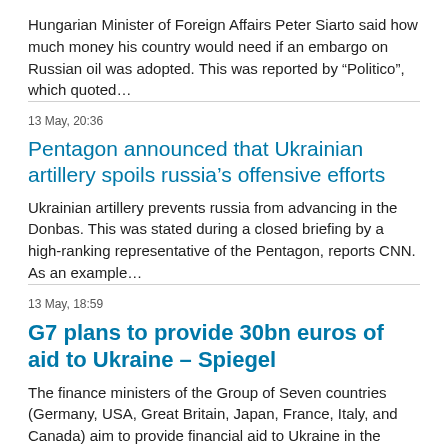Hungarian Minister of Foreign Affairs Peter Siarto said how much money his country would need if an embargo on Russian oil was adopted. This was reported by “Politico”, which quoted…
13 May, 20:36
Pentagon announced that Ukrainian artillery spoils russia’s offensive efforts
Ukrainian artillery prevents russia from advancing in the Donbas. This was stated during a closed briefing by a high-ranking representative of the Pentagon, reports CNN. As an example…
13 May, 18:59
G7 plans to provide 30bn euros of aid to Ukraine – Spiegel
The finance ministers of the Group of Seven countries (Germany, USA, Great Britain, Japan, France, Italy, and Canada) aim to provide financial aid to Ukraine in the amount of about…
13 May, 18:41
Pentagon Chief and russian defense minister